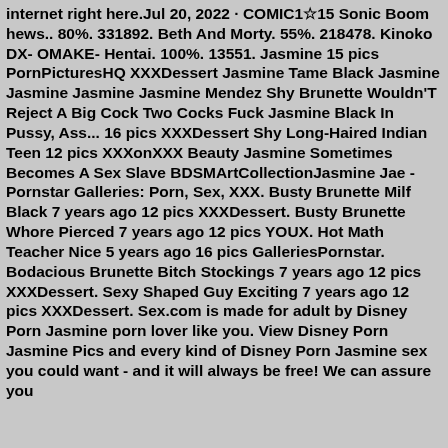internet right here.Jul 20, 2022 · COMIC1☆15 Sonic Boom hews.. 80%. 331892. Beth And Morty. 55%. 218478. Kinoko DX- OMAKE- Hentai. 100%. 13551. Jasmine 15 pics PornPicturesHQ XXXDessert Jasmine Tame Black Jasmine Jasmine Jasmine Jasmine Mendez Shy Brunette Wouldn'T Reject A Big Cock Two Cocks Fuck Jasmine Black In Pussy, Ass... 16 pics XXXDessert Shy Long-Haired Indian Teen 12 pics XXXonXXX Beauty Jasmine Sometimes Becomes A Sex Slave BDSMArtCollectionJasmine Jae - Pornstar Galleries: Porn, Sex, XXX. Busty Brunette Milf Black 7 years ago 12 pics XXXDessert. Busty Brunette Whore Pierced 7 years ago 12 pics YOUX. Hot Math Teacher Nice 5 years ago 16 pics GalleriesPornstar. Bodacious Brunette Bitch Stockings 7 years ago 12 pics XXXDessert. Sexy Shaped Guy Exciting 7 years ago 12 pics XXXDessert. Sex.com is made for adult by Disney Porn Jasmine porn lover like you. View Disney Porn Jasmine Pics and every kind of Disney Porn Jasmine sex you could want - and it will always be free! We can assure you